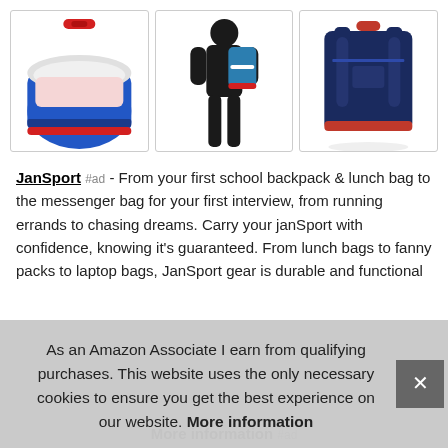[Figure (photo): Three product photos of JanSport backpacks: left shows open blue backpack with red trim, center shows silhouette of person wearing a blue backpack with red trim, right shows rear view of navy blue backpack.]
JanSport #ad - From your first school backpack & lunch bag to the messenger bag for your first interview, from running errands to chasing dreams. Carry your janSport with confidence, knowing it's guaranteed. From lunch bags to fanny packs to laptop bags, JanSport gear is durable and functional
As an Amazon Associate I earn from qualifying purchases. This website uses the only necessary cookies to ensure you get the best experience on our website. More information
More information #ad